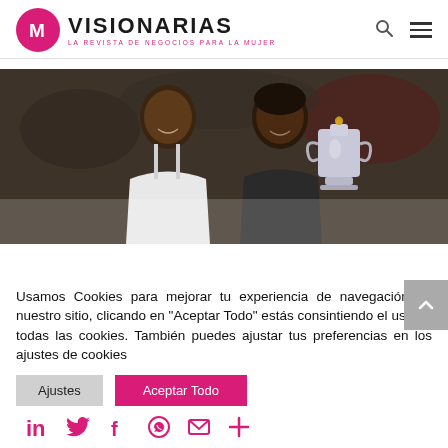VISIONARIAS - LA REVISTA DE NEGOCIOS PARA LA MUJER
[Figure (photo): Two women smiling, one in white dress and one in black Nike outfit holding a large silver trophy cup, with audience in background]
Usamos Cookies para mejorar tu experiencia de navegación en nuestro sitio, clicando en "Aceptar Todo" estás consintiendo el uso de todas las cookies. También puedes ajustar tus preferencias en los ajustes de cookies
Ajustes | Aceptar Todo
[Figure (infographic): Social media icons row: LinkedIn, Twitter, Facebook, WhatsApp, Mail, Plus]